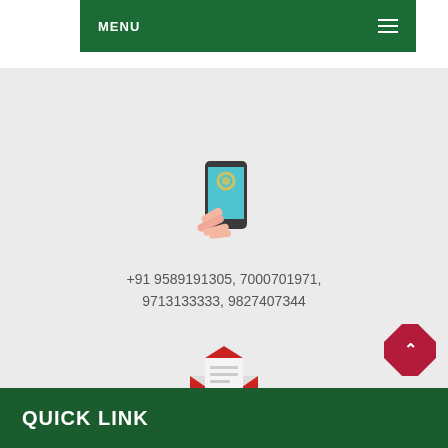MENU
[Figure (illustration): A hand touching/tapping a smartphone screen icon]
+91 9589191305, 7000701971, 9713133333, 9827407344
[Figure (illustration): An open red envelope with a letter/document inside]
Email : dronpsam@gmail.com
[Figure (illustration): Red diamond scroll-to-top button with up arrow]
QUICK LINK